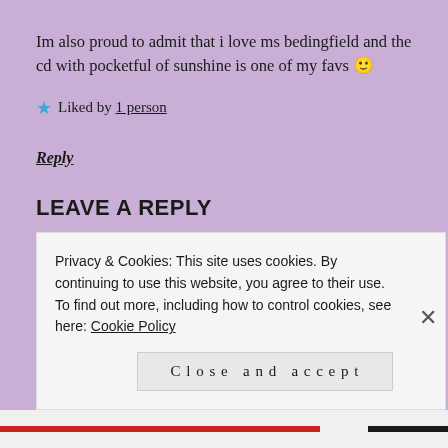Im also proud to admit that i love ms bedingfield and the cd with pocketful of sunshine is one of my favs 🙂
★ Liked by 1 person
Reply
LEAVE A REPLY
Your email address will not be published. Required fields are marked *
Privacy & Cookies: This site uses cookies. By continuing to use this website, you agree to their use.
To find out more, including how to control cookies, see here: Cookie Policy
Close and accept